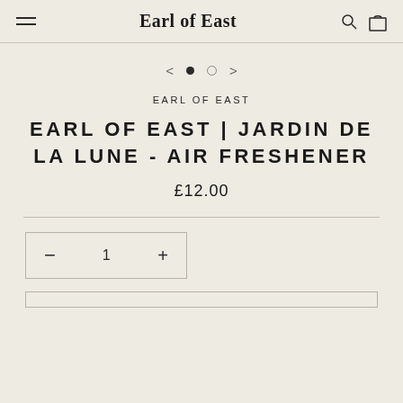Earl of East
[Figure (other): Image carousel navigation with left arrow, filled dot, empty dot, right arrow]
EARL OF EAST
EARL OF EAST | JARDIN DE LA LUNE - AIR FRESHENER
£12.00
Quantity control: minus, 1, plus